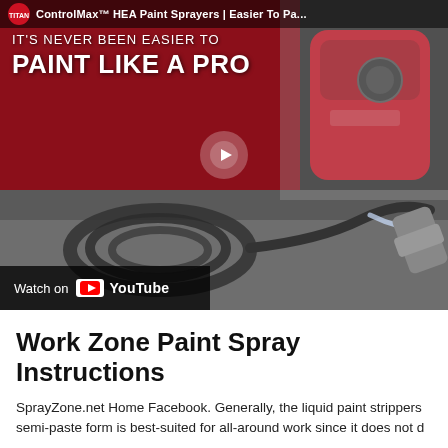[Figure (screenshot): YouTube video thumbnail for ControlMax HEA Paint Sprayers showing a Titan paint sprayer on a grey surface with hose and spray gun, text overlay reading 'IT'S NEVER BEEN EASIER TO PAINT LIKE A PRO', with a play button in the center and a 'Watch on YouTube' bar at the bottom left. Top bar shows Titan logo and video title 'ControlMax™ HEA Paint Sprayers | Easier To Pa...']
Work Zone Paint Spray Instructions
SprayZone.net Home Facebook. Generally, the liquid paint strippers semi-paste form is best-suited for all-around work since it does not d